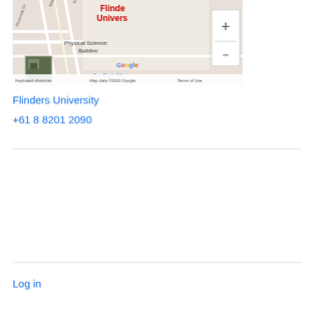[Figure (map): Google Maps screenshot showing Flinders University campus area with Physical Sciences Building, zoom controls, Google logo, and map attribution. Shows streets including Riverside Dr, Malcolm St, and a car park.]
Flinders University
+61 8 8201 2090
Log in